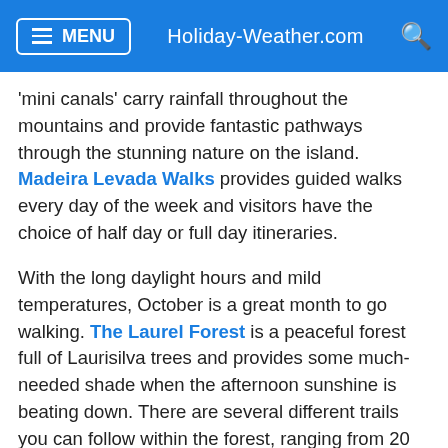MENU  Holiday-Weather.com
'mini canals' carry rainfall throughout the mountains and provide fantastic pathways through the stunning nature on the island. Madeira Levada Walks provides guided walks every day of the week and visitors have the choice of half day or full day itineraries.
With the long daylight hours and mild temperatures, October is a great month to go walking. The Laurel Forest is a peaceful forest full of Laurisilva trees and provides some much-needed shade when the afternoon sunshine is beating down. There are several different trails you can follow within the forest, ranging from 20 minutes to several hours, providing something for people of all ages and abilities. There will be natural beauty everywhere you turn, so make sure you take your camera with you.
October is probably the last month of the year when you